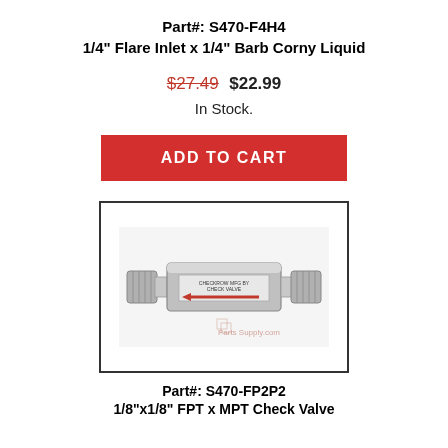Part#: S470-F4H4
1/4" Flare Inlet x 1/4" Barb Corny Liquid
$27.49  $22.99
In Stock.
ADD TO CART
[Figure (photo): Product photo of a stainless steel check valve fitting with threaded ends and a label showing a red arrow indicating flow direction. Watermark reads 'Parts Supply.com']
Part#: S470-FP2P2
1/8"x1/8" FPT x MPT Check Valve